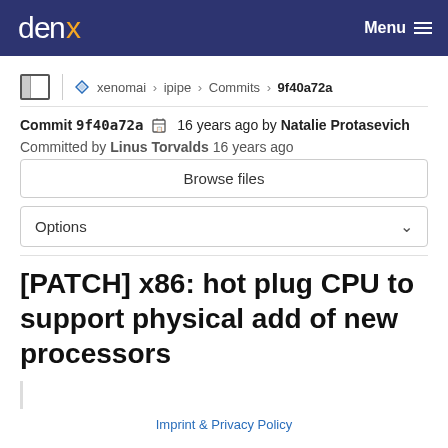denx  Menu
xenomai › ipipe › Commits › 9f40a72a
Commit 9f40a72a  16 years ago by Natalie Protasevich
Committed by Linus Torvalds 16 years ago
Browse files
Options
[PATCH] x86: hot plug CPU to support physical add of new processors
Imprint & Privacy Policy